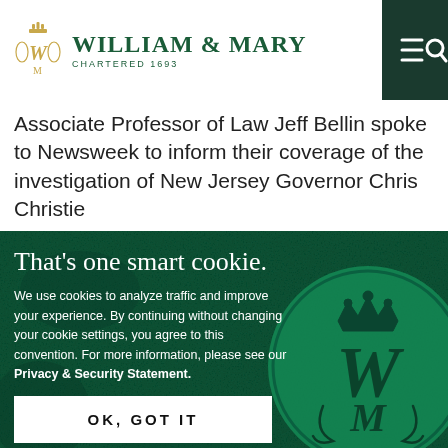William & Mary — Chartered 1693
Associate Professor of Law Jeff Bellin spoke to Newsweek to inform their coverage of the investigation of New Jersey Governor Chris Christie
That's one smart cookie.
We use cookies to analyze traffic and improve your experience. By continuing without changing your cookie settings, you agree to this convention. For more information, please see our Privacy & Security Statement.
OK, GOT IT